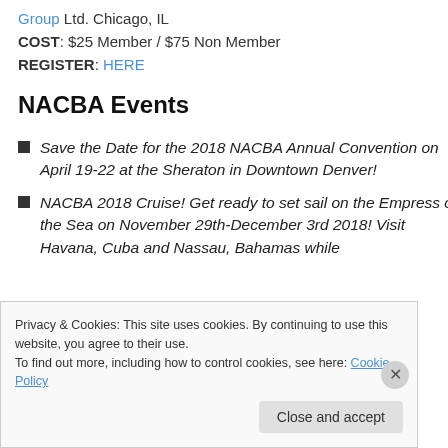Group Ltd. Chicago, IL
COST: $25 Member / $75 Non Member
REGISTER: HERE
NACBA Events
Save the Date for the 2018 NACBA Annual Convention on April 19-22 at the Sheraton in Downtown Denver!
NACBA 2018 Cruise! Get ready to set sail on the Empress of the Sea on November 29th-December 3rd 2018! Visit Havana, Cuba and Nassau, Bahamas while
Privacy & Cookies: This site uses cookies. By continuing to use this website, you agree to their use.
To find out more, including how to control cookies, see here: Cookie Policy
Close and accept